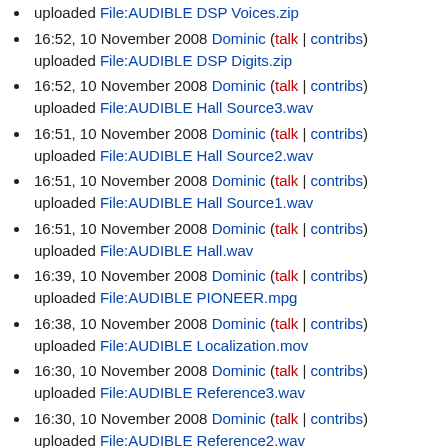uploaded File:AUDIBLE DSP Voices.zip
16:52, 10 November 2008 Dominic (talk | contribs) uploaded File:AUDIBLE DSP Digits.zip
16:52, 10 November 2008 Dominic (talk | contribs) uploaded File:AUDIBLE Hall Source3.wav
16:51, 10 November 2008 Dominic (talk | contribs) uploaded File:AUDIBLE Hall Source2.wav
16:51, 10 November 2008 Dominic (talk | contribs) uploaded File:AUDIBLE Hall Source1.wav
16:51, 10 November 2008 Dominic (talk | contribs) uploaded File:AUDIBLE Hall.wav
16:39, 10 November 2008 Dominic (talk | contribs) uploaded File:AUDIBLE PIONEER.mpg
16:38, 10 November 2008 Dominic (talk | contribs) uploaded File:AUDIBLE Localization.mov
16:30, 10 November 2008 Dominic (talk | contribs) uploaded File:AUDIBLE Reference3.wav
16:30, 10 November 2008 Dominic (talk | contribs) uploaded File:AUDIBLE Reference2.wav
16:30, 10 November 2008 Dominic (talk | contribs) uploaded File:AUDIBLE Reference1.wav
16:29, 10 November 2008 Dominic (talk | contribs) uploaded File:AUDIBLE Reference2.zip